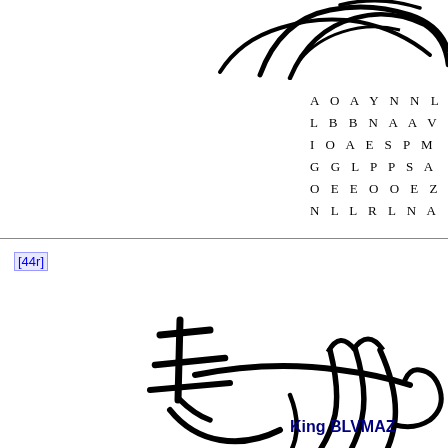[Figure (illustration): Partial view of a royal seal or ornate circular emblem, cropped at top-right of the page, showing curved decorative lines in black ink.]
A O A Y N N L
L B B N A A V
I O A E S P M
G G L P P S A
O E E O O E Z
N L L R L N A
[44r]
[Figure (illustration): A large royal signature or monogram in black ink, showing elaborate calligraphic strokes resembling letters forming a royal rubric or signum.]
King BLVMAZ